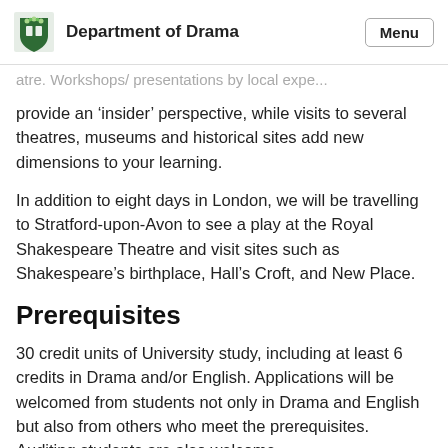Department of Drama | Menu
atre. Workshops/ presentations by local expe...
provide an ‘insider’ perspective, while visits to several theatres, museums and historical sites add new dimensions to your learning.
In addition to eight days in London, we will be travelling to Stratford-upon-Avon to see a play at the Royal Shakespeare Theatre and visit sites such as Shakespeare’s birthplace, Hall’s Croft, and New Place.
Prerequisites
30 credit units of University study, including at least 6 credits in Drama and/or English. Applications will be welcomed from students not only in Drama and English but also from others who meet the prerequisites. Auditing students are also welcome.